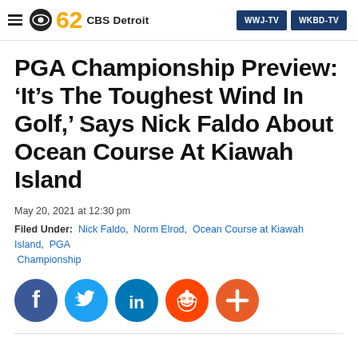CBS 62 CBS Detroit | WWJ-TV | WKBD-TV
PGA Championship Preview: ‘It’s The Toughest Wind In Golf,’ Says Nick Faldo About Ocean Course At Kiawah Island
May 20, 2021 at 12:30 pm
Filed Under: Nick Faldo, Norm Elrod, Ocean Course at Kiawah Island, PGA Championship
[Figure (infographic): Social sharing icons: Facebook (blue), Twitter (light blue), LinkedIn (dark blue), Reddit (orange-red), More/Plus (orange)]